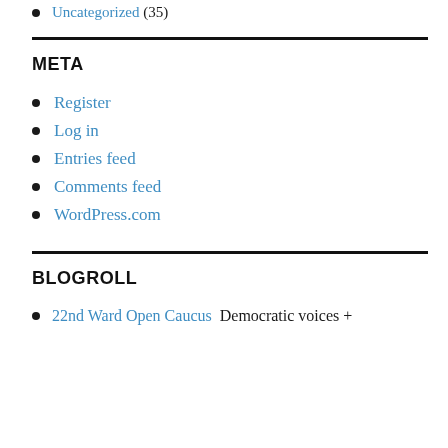Uncategorized (35)
META
Register
Log in
Entries feed
Comments feed
WordPress.com
BLOGROLL
22nd Ward Open Caucus Democratic voices +